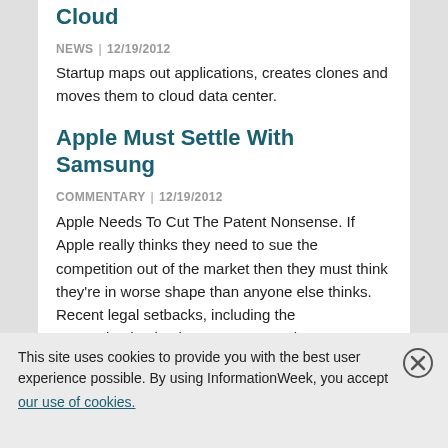Cloud
NEWS | 12/19/2012
Startup maps out applications, creates clones and moves them to cloud data center.
Apple Must Settle With Samsung
COMMENTARY | 12/19/2012
Apple Needs To Cut The Patent Nonsense. If Apple really thinks they need to sue the competition out of the market then they must think they're in worse shape than anyone else thinks. Recent legal setbacks, including the reexamination by the US Patent and
This site uses cookies to provide you with the best user experience possible. By using InformationWeek, you accept our use of cookies.